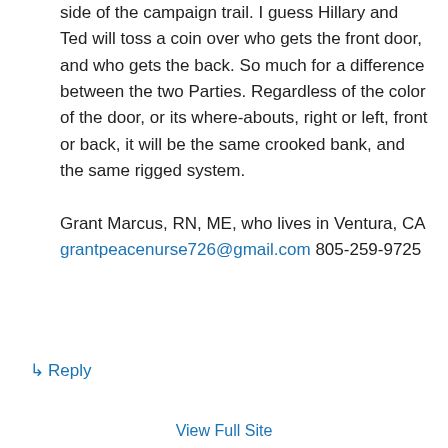side of the campaign trail. I guess Hillary and Ted will toss a coin over who gets the front door, and who gets the back. So much for a difference between the two Parties. Regardless of the color of the door, or its where-abouts, right or left, front or back, it will be the same crooked bank, and the same rigged system.
Grant Marcus, RN, ME, who lives in Ventura, CA
grantpeacenurse726@gmail.com 805-259-9725
↳ Reply
View Full Site